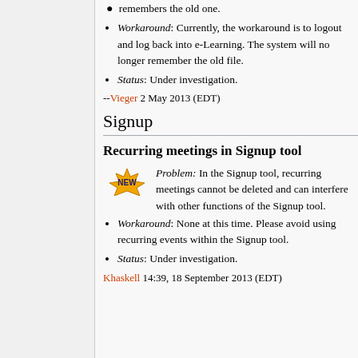remembers the old one.
Workaround: Currently, the workaround is to logout and log back into e-Learning. The system will no longer remember the old file.
Status: Under investigation.
--Vieger 2 May 2013 (EDT)
Signup
Recurring meetings in Signup tool
Problem: In the Signup tool, recurring meetings cannot be deleted and can interfere with other functions of the Signup tool.
Workaround: None at this time. Please avoid using recurring events within the Signup tool.
Status: Under investigation.
Khaskell 14:39, 18 September 2013 (EDT)